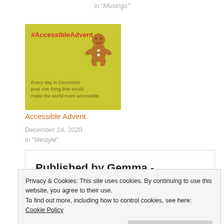in "Musings"
[Figure (illustration): Yellow-green card with red bold text '#AccessibleAdvent', a gingerbread man icon on the right, and brown italic text reading 'Every day in December post one thing that would make the world more accessible']
Accessible Advent
December 24, 2020
In "lifestyle"
Published by Gemma -
Privacy & Cookies: This site uses cookies. By continuing to use this website, you agree to their use. To find out more, including how to control cookies, see here: Cookie Policy
Close and accept
analysing where we are and what we